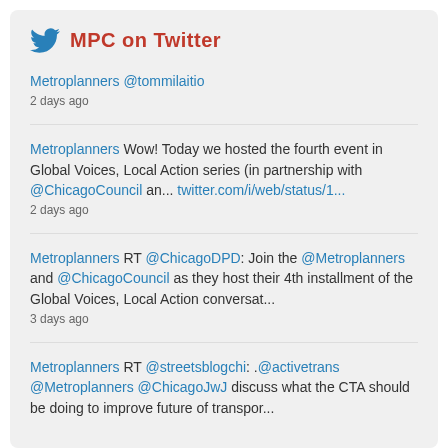MPC on Twitter
Metroplanners @tommilaitio
2 days ago
Metroplanners Wow! Today we hosted the fourth event in Global Voices, Local Action series (in partnership with @ChicagoCouncil an... twitter.com/i/web/status/1...
2 days ago
Metroplanners RT @ChicagoDPD: Join the @Metroplanners and @ChicagoCouncil as they host their 4th installment of the Global Voices, Local Action conversat...
3 days ago
Metroplanners RT @streetsblogchi: .@activetrans @Metroplanners @ChicagoJwJ discuss what the CTA should be doing to improve future of transport...